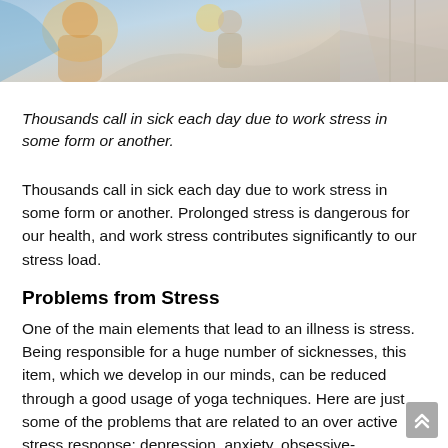[Figure (photo): Partial photo at top of page showing people/work stress imagery with colorful background]
Thousands call in sick each day due to work stress in some form or another.
Thousands call in sick each day due to work stress in some form or another. Prolonged stress is dangerous for our health, and work stress contributes significantly to our stress load.
Problems from Stress
One of the main elements that lead to an illness is stress. Being responsible for a huge number of sicknesses, this item, which we develop in our minds, can be reduced through a good usage of yoga techniques. Here are just some of the problems that are related to an over active stress response: depression, anxiety, obsessive-compulsive disorder, some types of diabetes mellitus, cardio-vascular disease, several autoimmune diseases, irritable bowel